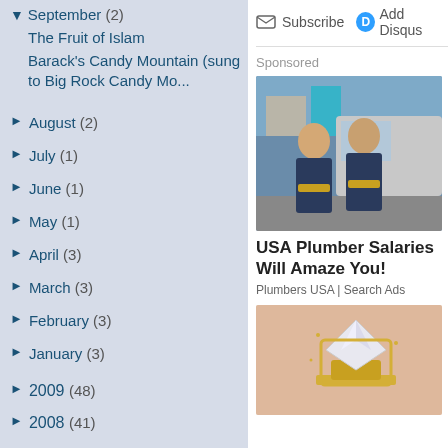▼ September (2)
The Fruit of Islam
Barack's Candy Mountain (sung to Big Rock Candy Mo...
► August (2)
► July (1)
► June (1)
► May (1)
► April (3)
► March (3)
► February (3)
► January (3)
► 2009 (48)
► 2008 (41)
► 2007 (10)
► 2006 (3)
Subscribe  Add Disqus
Sponsored
[Figure (photo): Two plumbers in dark uniforms with tool belts standing in front of a van]
USA Plumber Salaries Will Amaze You!
Plumbers USA | Search Ads
[Figure (photo): Diamond ring with gold band on pink background]